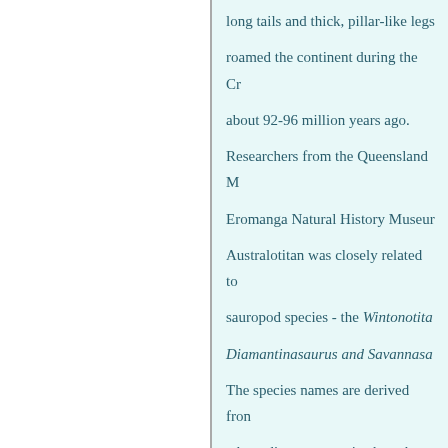long tails and thick, pillar-like legs roamed the continent during the Cr about 92-96 million years ago. Researchers from the Queensland M Eromanga Natural History Museum Australotitan was closely related to sauropod species - the Wintonotita Diamantinasaurus and Savannasa The species names are derived from where dinosaur remains have been Wintonotitan, Diamantinasaurus a were discovered in Winton, Diama areas.³